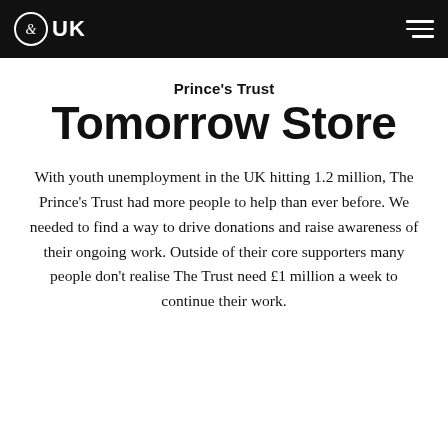&UK (logo) | hamburger menu
Prince's Trust
Tomorrow Store
With youth unemployment in the UK hitting 1.2 million, The Prince's Trust had more people to help than ever before. We needed to find a way to drive donations and raise awareness of their ongoing work. Outside of their core supporters many people don't realise The Trust need £1 million a week to continue their work.